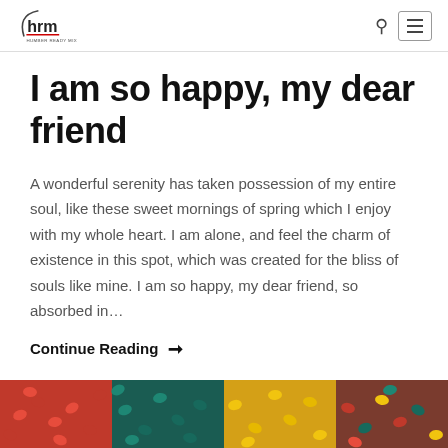hrm HUMBER READY MIX
I am so happy, my dear friend
A wonderful serenity has taken possession of my entire soul, like these sweet mornings of spring which I enjoy with my whole heart. I am alone, and feel the charm of existence in this spot, which was created for the bliss of souls like mine. I am so happy, my dear friend, so absorbed in…
Continue Reading →
[Figure (photo): Colorful plastic pellets/granules in red, dark green/teal, yellow, and other colors arranged in groups]